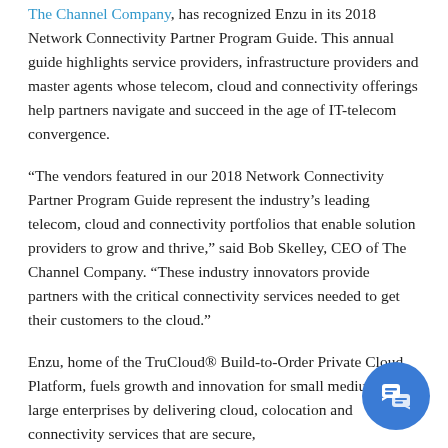The Channel Company, has recognized Enzu in its 2018 Network Connectivity Partner Program Guide. This annual guide highlights service providers, infrastructure providers and master agents whose telecom, cloud and connectivity offerings help partners navigate and succeed in the age of IT-telecom convergence.
“The vendors featured in our 2018 Network Connectivity Partner Program Guide represent the industry’s leading telecom, cloud and connectivity portfolios that enable solution providers to grow and thrive,” said Bob Skelley, CEO of The Channel Company. “These industry innovators provide partners with the critical connectivity services needed to get their customers to the cloud.”
Enzu, home of the TruCloud® Build-to-Order Private Cloud Platform, fuels growth and innovation for small medium and large enterprises by delivering cloud, colocation and connectivity services that are secure,